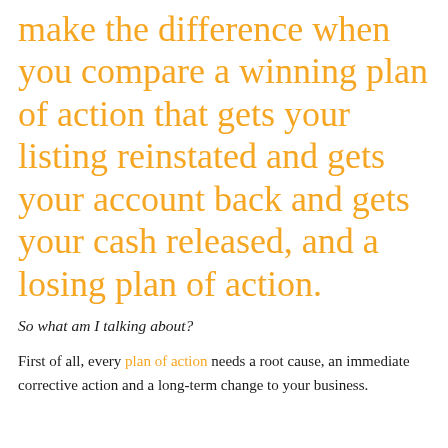make the difference when you compare a winning plan of action that gets your listing reinstated and gets your account back and gets your cash released, and a losing plan of action.
So what am I talking about?
First of all, every plan of action needs a root cause, an immediate corrective action and a long-term change to your business.